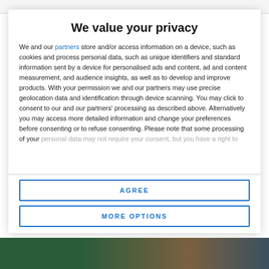We value your privacy
We and our partners store and/or access information on a device, such as cookies and process personal data, such as unique identifiers and standard information sent by a device for personalised ads and content, ad and content measurement, and audience insights, as well as to develop and improve products. With your permission we and our partners may use precise geolocation data and identification through device scanning. You may click to consent to our and our partners' processing as described above. Alternatively you may access more detailed information and change your preferences before consenting or to refuse consenting. Please note that some processing of your personal data may not require your consent, but you have a right to
AGREE
MORE OPTIONS
[Figure (photo): Background photo visible at bottom of page, showing outdoor/nature scene in green and brown tones]